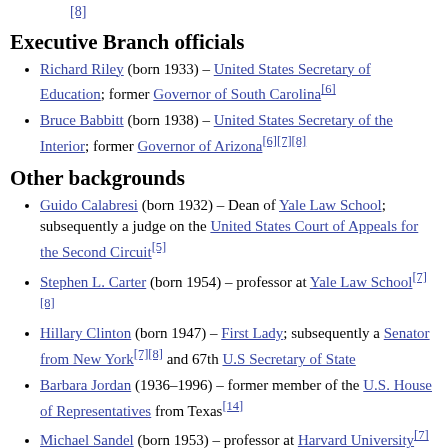[8]
Executive Branch officials
Richard Riley (born 1933) – United States Secretary of Education; former Governor of South Carolina[6]
Bruce Babbitt (born 1938) – United States Secretary of the Interior; former Governor of Arizona[6][7][8]
Other backgrounds
Guido Calabresi (born 1932) – Dean of Yale Law School; subsequently a judge on the United States Court of Appeals for the Second Circuit[5]
Stephen L. Carter (born 1954) – professor at Yale Law School[7][8]
Hillary Clinton (born 1947) – First Lady; subsequently a Senator from New York[7][8] and 67th U.S Secretary of State
Barbara Jordan (1936–1996) – former member of the U.S. House of Representatives from Texas[14]
Michael Sandel (born 1953) – professor at Harvard University[7]